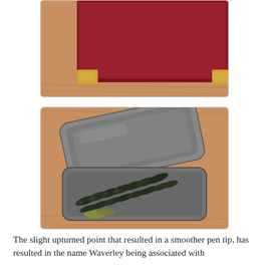[Figure (photo): Top portion of a dark red/maroon case or box with brass corner fittings, resting on a wooden surface. This is a partial view cropped at the top.]
[Figure (photo): An open metal tin (silver/grey) containing multiple dark green or black pen nibs arranged inside, resting on a wooden surface. The tin lid is propped open showing the nibs inside.]
The slight upturned point that resulted in a smoother pen tip, has resulted in the name Waverley being associated with possibly that tip for a long time. The name of certain nibs still …